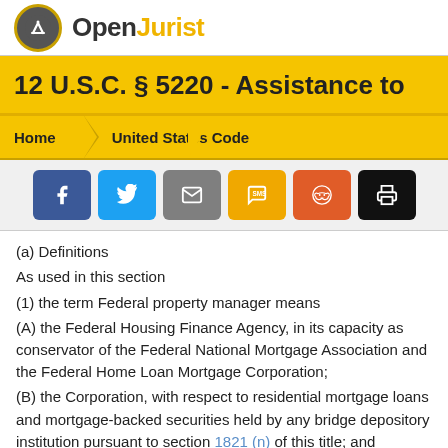OpenJurist
12 U.S.C. § 5220 - Assistance to
Home > United States Code
[Figure (infographic): Social share buttons: Facebook, Twitter, Email, SMS, Reddit, Print]
(a) Definitions
As used in this section
(1) the term Federal property manager means
(A) the Federal Housing Finance Agency, in its capacity as conservator of the Federal National Mortgage Association and the Federal Home Loan Mortgage Corporation;
(B) the Corporation, with respect to residential mortgage loans and mortgage-backed securities held by any bridge depository institution pursuant to section 1821 (n) of this title; and
Advertisement